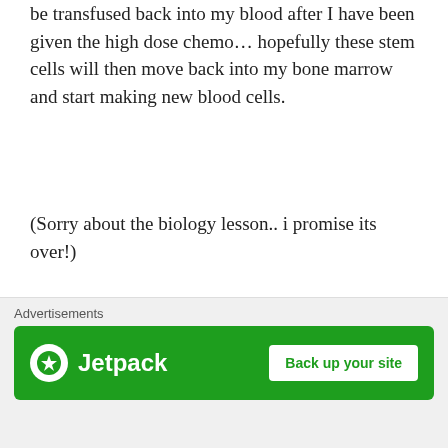be transfused back into my blood after I have been given the high dose chemo… hopefully these stem cells will then move back into my bone marrow and start making new blood cells.
(Sorry about the biology lesson.. i promise its over!)
I may have oversimplified my explanation and made it sound like the process is a walk in the park.. i am at the early stages. I don't want to overwhelm myself or you...
[Figure (photo): Interior of a hospital room showing white walls, ceiling tiles, and medical equipment/fixtures on the wall]
Advertisements
[Figure (other): Jetpack advertisement banner with green background showing Jetpack logo and 'Back up your site' button]